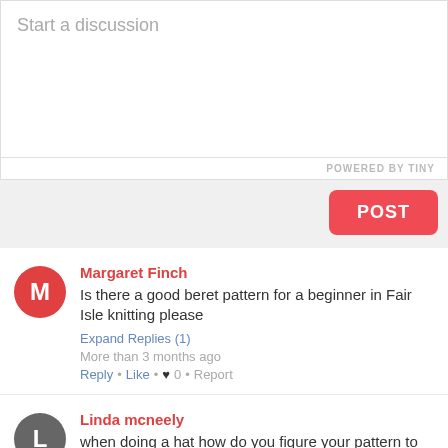Start a discussion
POWERED BY TINY
POST
Margaret Finch
Is there a good beret pattern for a beginner in Fair Isle knitting please
Expand Replies (1)
More than 3 months ago
Reply • Like • ♥ 0 • Report
Linda mcneely
when doing a hat how do you figure your pattern to the amount of cast on stitches?
Expand Replies (1)